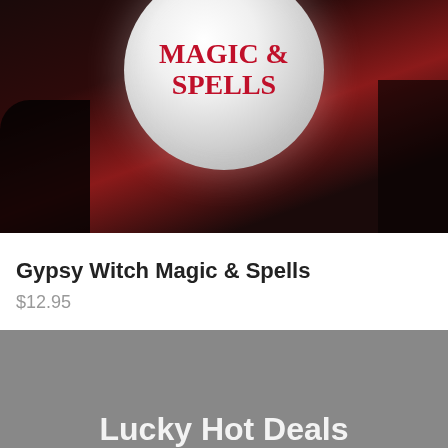[Figure (photo): Dark moody photo of a glowing crystal ball with 'MAGIC & SPELLS' text in red, surrounded by dark background with red fabric and mystical objects]
Gypsy Witch Magic & Spells
$12.95
[Figure (photo): Gray/dark image with white bold text reading 'Lucky Hot Deals' partially visible at the bottom]